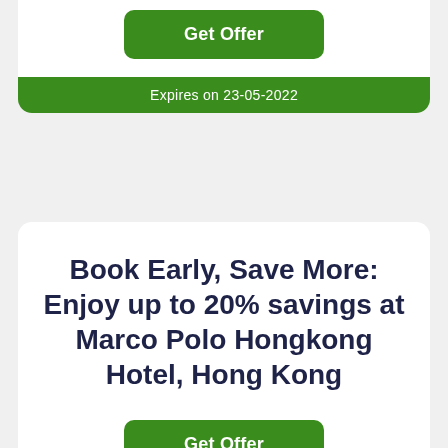Get Offer
Expires on 23-05-2022
Book Early, Save More: Enjoy up to 20% savings at Marco Polo Hongkong Hotel, Hong Kong
Get Offer